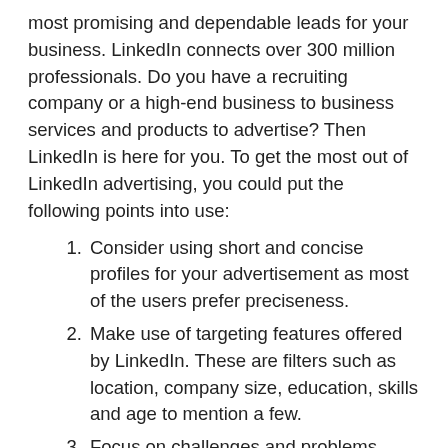most promising and dependable leads for your business. LinkedIn connects over 300 million professionals. Do you have a recruiting company or a high-end business to business services and products to advertise? Then LinkedIn is here for you. To get the most out of LinkedIn advertising, you could put the following points into use:
Consider using short and concise profiles for your advertisement as most of the users prefer preciseness.
Make use of targeting features offered by LinkedIn. These are filters such as location, company size, education, skills and age to mention a few.
Focus on challenges and problems professionals and offer a means of fixing them!